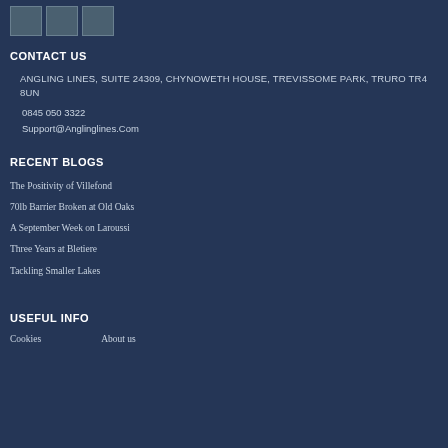[Figure (photo): Three small thumbnail images in a row at the top]
CONTACT US
ANGLING LINES, SUITE 24309, CHYNOWETH HOUSE, TREVISSOME PARK, TRURO TR4 8UN
0845 050 3322
Support@Anglinglines.Com
RECENT BLOGS
The Positivity of Villefond
70lb Barrier Broken at Old Oaks
A September Week on Laroussi
Three Years at Bletiere
Tackling Smaller Lakes
USEFUL INFO
Cookies
About us